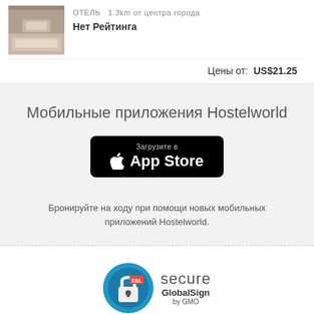[Figure (photo): Small hotel room thumbnail image]
ОТЕЛЬ  1.3km от центра города
Нет Рейтинга
Цены от:  US$21.25
Мобильные приложения Hostelworld
[Figure (logo): Download on the App Store button - black rounded rectangle with Apple logo and text 'Загрузите в App Store']
Бронируйте на ходу при помощи новых мобильных приложений Hostelworld.
[Figure (logo): SSL Secure GlobalSign by GMO badge - blue padlock circle with SSL label and secure GlobalSign by GMO text]